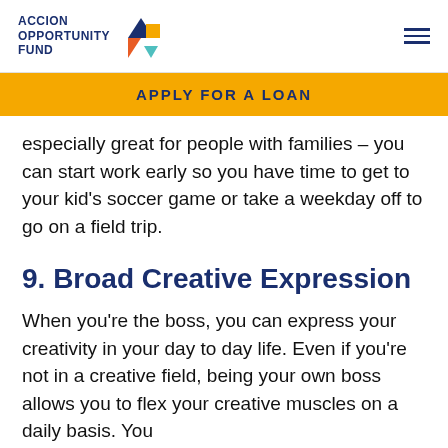ACCION OPPORTUNITY FUND
APPLY FOR A LOAN
especially great for people with families – you can start work early so you have time to get to your kid's soccer game or take a weekday off to go on a field trip.
9. Broad Creative Expression
When you're the boss, you can express your creativity in your day to day life. Even if you're not in a creative field, being your own boss allows you to flex your creative muscles on a daily basis. You